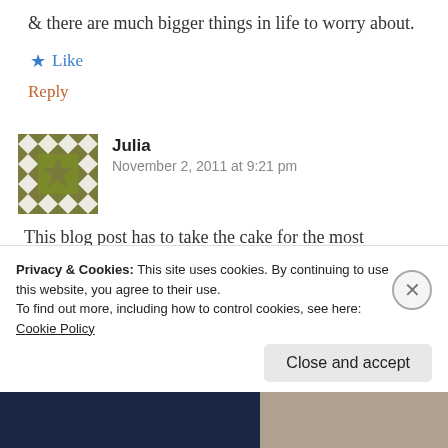& there are much bigger things in life to worry about.
Like
Reply
Julia
November 2, 2011 at 9:21 pm
This blog post has to take the cake for the most hilarious misuse of Shakespeare I've seen in a long time. I
Privacy & Cookies: This site uses cookies. By continuing to use this website, you agree to their use.
To find out more, including how to control cookies, see here: Cookie Policy
Close and accept